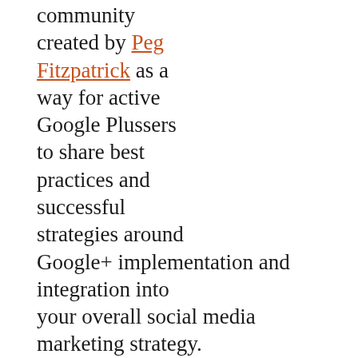community created by Peg Fitzpatrick as a way for active Google Plussers to share best practices and successful strategies around Google+ implementation and integration into your overall social media marketing strategy.
5. Pay Attention to Your Ripples
Ripples are a Google+ feature that allows you to